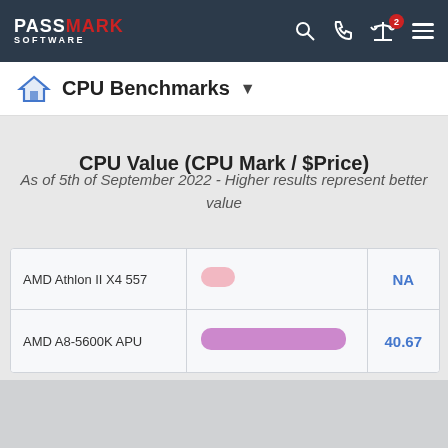PassMark Software
CPU Benchmarks
CPU Value (CPU Mark / $Price)
As of 5th of September 2022 - Higher results represent better value
| CPU | Bar | Score |
| --- | --- | --- |
| AMD Athlon II X4 557 | NA bar | NA |
| AMD A8-5600K APU | value bar | 40.67 |